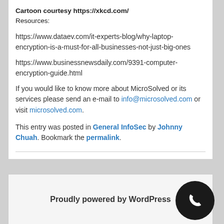Cartoon courtesy https://xkcd.com/
Resources:
https://www.dataev.com/it-experts-blog/why-laptop-encryption-is-a-must-for-all-businesses-not-just-big-ones
https://www.businessnewsdaily.com/9391-computer-encryption-guide.html
If you would like to know more about MicroSolved or its services please send an e-mail to info@microsolved.com or visit microsolved.com.
This entry was posted in General InfoSec by Johnny Chuah. Bookmark the permalink.
Proudly powered by WordPress